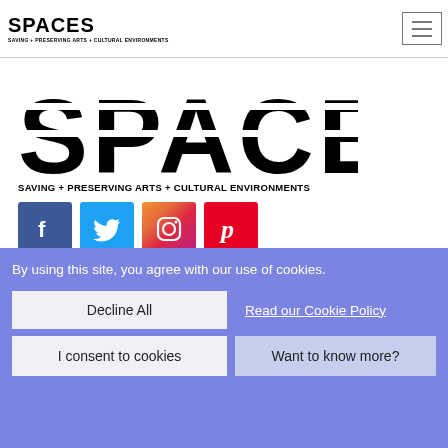SPACES — SAVING + PRESERVING ARTS + CULTURAL ENVIRONMENTS (nav bar with hamburger menu)
[Figure (logo): Large SPACES stencil-style wordmark logo]
SAVING + PRESERVING ARTS + CULTURAL ENVIRONMENTS
[Figure (infographic): Row of social media icons: Facebook, Twitter, Instagram, Pinterest]
[Figure (logo): Envelope/email icon in tan and yellow colors]
By using this site, you agree with our use of cookies.
Decline All
Read our Cookie Policy
I consent to cookies
Want to know more?